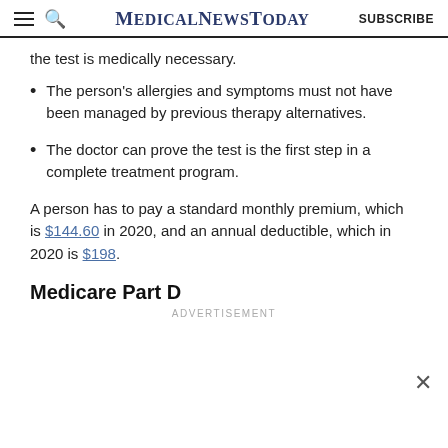MedicalNewsToday | SUBSCRIBE
the test is medically necessary.
The person's allergies and symptoms must not have been managed by previous therapy alternatives.
The doctor can prove the test is the first step in a complete treatment program.
A person has to pay a standard monthly premium, which is $144.60 in 2020, and an annual deductible, which in 2020 is $198.
Medicare Part D
ADVERTISEMENT